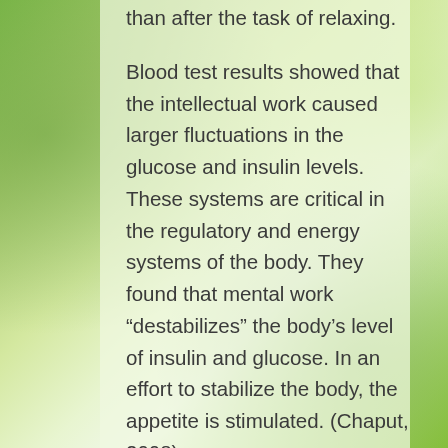than after the task of relaxing.
Blood test results showed that the intellectual work caused larger fluctuations in the glucose and insulin levels. These systems are critical in the regulatory and energy systems of the body. They found that mental work “destabilizes” the body’s level of insulin and glucose. In an effort to stabilize the body, the appetite is stimulated. (Chaput, 2008).
Researchers from the University of California found that when rats were